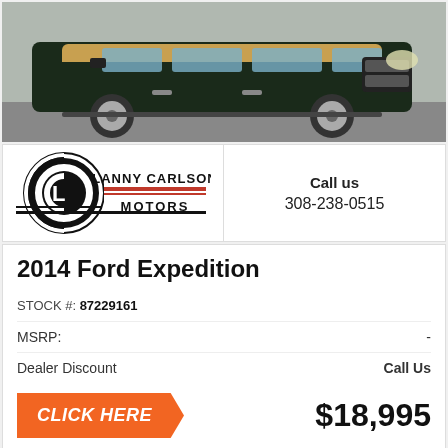[Figure (photo): Dark green/black Ford Expedition SUV parked, two-tone paint with gold/tan trim, side view showing alloy wheels]
[Figure (logo): Lanny Carlson Motors logo — circular LC monogram in black with red horizontal lines and text 'LANNY CARLSON MOTORS']
Call us
308-238-0515
2014 Ford Expedition
STOCK #: 87229161
MSRP:	-
Dealer Discount	Call Us
CLICK HERE
$18,995
Lanny Carlson Motors
Going the extra mile for you!